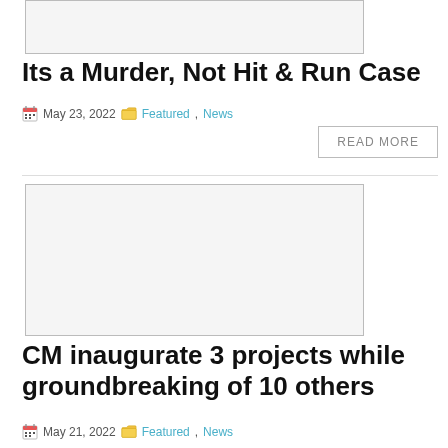[Figure (photo): Partial image placeholder at top of page (cropped)]
Its a Murder, Not Hit & Run Case
May 23, 2022   Featured, News
READ MORE
[Figure (photo): Large image placeholder for second article]
CM inaugurate 3 projects while groundbreaking of 10 others
May 21, 2022   Featured, News